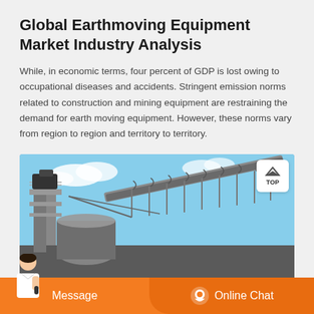Global Earthmoving Equipment Market Industry Analysis
While, in economic terms, four percent of GDP is lost owing to occupational diseases and accidents. Stringent emission norms related to construction and mining equipment are restraining the demand for earth moving equipment. However, these norms vary from region to region and territory to territory.
[Figure (photo): Industrial earthmoving or mining conveyor belt equipment photographed against a partly cloudy sky. Large metal conveyor structures and machinery visible.]